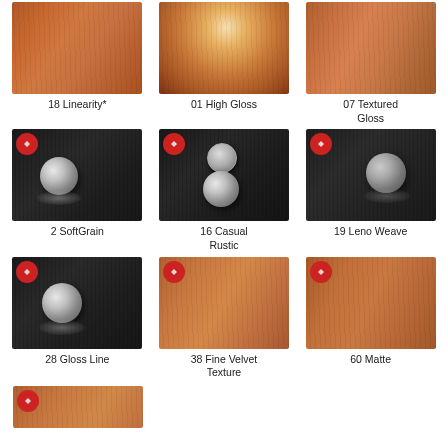[Figure (photo): 18 Linearity* - copper/warm wood surface finish thumbnail]
18 Linearity*
[Figure (photo): 01 High Gloss - copper warm wood surface with glossy highlight]
01 High Gloss
[Figure (photo): 07 Textured Gloss - copper warm wood surface finish]
07 Textured Gloss
[Figure (photo): 2 SoftGrain - dark wood grain with metallic ball, black and white]
2 SoftGrain
[Figure (photo): 16 Casual Rustic - dark wood grain with metallic ball, black and white]
16 Casual Rustic
[Figure (photo): 19 Leno Weave - dark wood grain with metallic ball, black and white]
19 Leno Weave
[Figure (photo): 28 Gloss Line - dark wood grain with metallic ball, black and white]
28 Gloss Line
[Figure (photo): 38 Fine Velvet Texture - copper/warm wood surface finish thumbnail]
38 Fine Velvet Texture
[Figure (photo): 60 Matte - copper/warm wood surface finish thumbnail]
60 Matte
[Figure (photo): Partial thumbnail visible at bottom - warm wood surface]